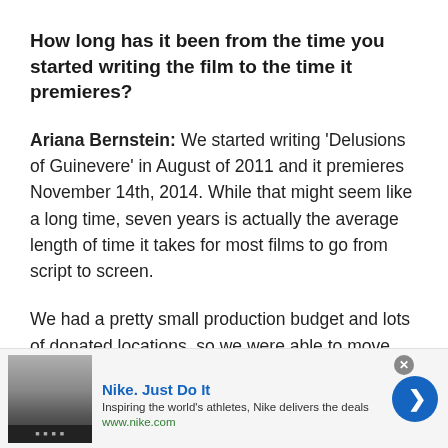How long has it been from the time you started writing the film to the time it premieres?
Ariana Bernstein: We started writing ‘Delusions of Guinevere’ in August of 2011 and it premieres November 14th, 2014. While that might seem like a long time, seven years is actually the average length of time it takes for most films to go from script to screen.
We had a pretty small production budget and lots of donated locations, so we were able to move through development a lot faster than most productions, as we
[Figure (other): Nike advertisement banner: thumbnail image on left, Nike. Just Do It headline in blue, tagline 'Inspiring the world's athletes, Nike delivers the deals', www.nike.com URL, close button (x), blue arrow button on right]